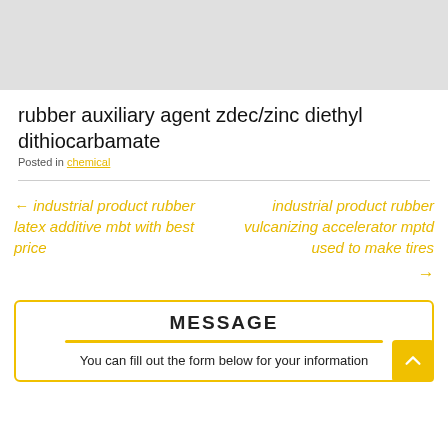[Figure (photo): Gray placeholder image area at the top of the page]
rubber auxiliary agent zdec/zinc diethyl dithiocarbamate
Posted in chemical
← industrial product rubber latex additive mbt with best price
industrial product rubber vulcanizing accelerator mptd used to make tires →
MESSAGE
You can fill out the form below for your information